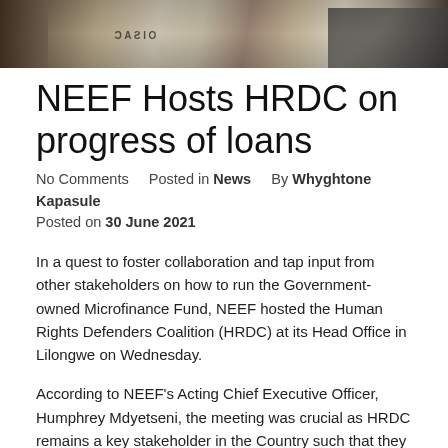[Figure (photo): A cropped photo of a desk scene showing a Casio calculator, a laptop keyboard, and other office items.]
NEEF Hosts HRDC on progress of loans
No Comments    Posted in News    By Whyghtone Kapasule
Posted on 30 June 2021
In a quest to foster collaboration and tap input from other stakeholders on how to run the Government-owned Microfinance Fund, NEEF hosted the Human Rights Defenders Coalition (HRDC) at its Head Office in Lilongwe on Wednesday.
According to NEEF's Acting Chief Executive Officer, Humphrey Mdyetseni, the meeting was crucial as HRDC remains a key stakeholder in the Country such that they needed to be updated on the progress that the Fund has made so far.